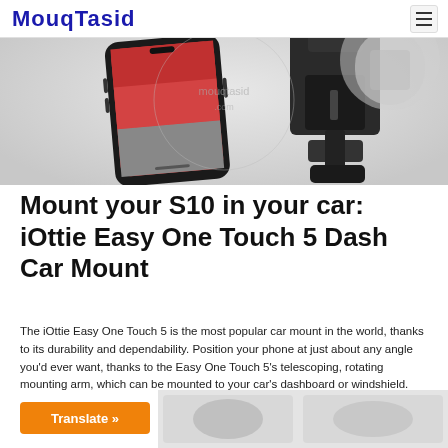MOUQTASID
[Figure (photo): Product photo of iOttie Easy One Touch 5 Dash Car Mount showing a smartphone mounted in a black car phone holder]
Mount your S10 in your car: iOttie Easy One Touch 5 Dash Car Mount
The iOttie Easy One Touch 5 is the most popular car mount in the world, thanks to its durability and dependability. Position your phone at just about any angle you'd ever want, thanks to the Easy One Touch 5's telescoping, rotating mounting arm, which can be mounted to your car's dashboard or windshield.
[Figure (photo): Translate button (orange) and partial product images of car mounts at bottom of page]